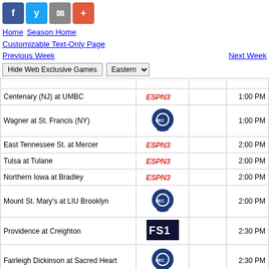[Figure (logo): Social media sharing buttons: Facebook, Twitter, Email, Plus]
Home   Season Home
Customizable Text-Only Page
Previous Week   Next Week
Hide Web Exclusive Games   Eastern (dropdown)
| Game | TV |  | Time |
| --- | --- | --- | --- |
| Centenary (NJ) at UMBC | ESPN3 |  | 1:00 PM |
| Wagner at St. Francis (NY) | [BEC logo] |  | 1:00 PM |
| East Tennessee St. at Mercer | ESPN3 |  | 2:00 PM |
| Tulsa at Tulane | ESPN3 |  | 2:00 PM |
| Northern Iowa at Bradley | ESPN3 |  | 2:00 PM |
| Mount St. Mary's at LIU Brooklyn | [BEC logo] |  | 2:00 PM |
| Providence at Creighton | FS1 |  | 2:30 PM |
| Fairleigh Dickinson at Sacred Heart | [BEC logo] |  | 2:30 PM |
| UT Arlington at Appalachian St. | Live Video |  | 2:30 PM |
| St. Francis (PA) at Bryant | [BEC logo] |  | 3:00 PM |
| Central Penn at UMES | Live Video |  | 3:00 PM |